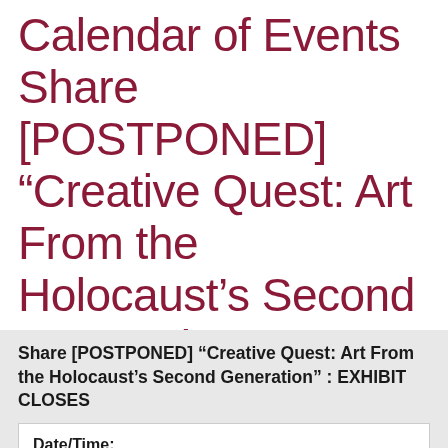Calendar of Events Share [POSTPONED] “Creative Quest: Art From the Holocaust’s Second Generation” : EXHIBIT CLOSES
Share [POSTPONED] “Creative Quest: Art From the Holocaust’s Second Generation” : EXHIBIT CLOSES
Date/Time: